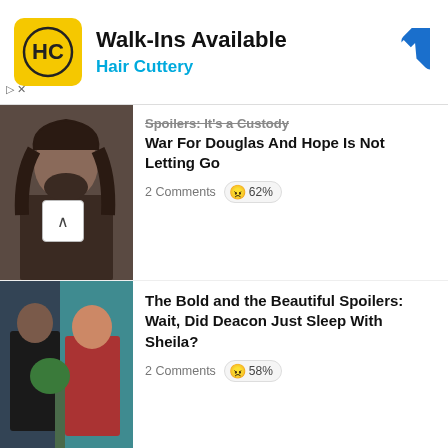[Figure (infographic): Hair Cuttery advertisement banner with logo, Walk-Ins Available headline, and blue navigation arrow icon]
Walk-Ins Available
Hair Cuttery
[Figure (photo): Close-up of a man with long dark hair and beard]
Spoilers: It's a Custody War For Douglas And Hope Is Not Letting Go
2 Comments  😠 62%
[Figure (photo): Two actors from The Bold and the Beautiful standing together]
The Bold and the Beautiful Spoilers: Wait, Did Deacon Just Sleep With Sheila?
2 Comments  😠 58%
[Figure (photo): Headshot of a woman with brown hair]
General Hospital Comings And Goings: Kelly Thiebaud Is Leaving Port Charles